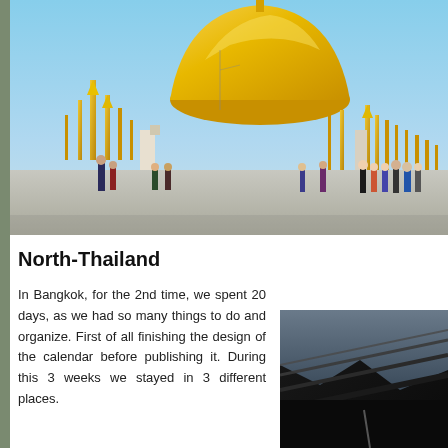[Figure (photo): Wide shot of the Shwedagon Pagoda in Myanmar with a large golden dome and multiple golden spires. Visitors walk across the marble platform in the foreground.]
North-Thailand
In Bangkok, for the 2nd time, we spent 20 days, as we had so many things to do and organize. First of all finishing the design of the calendar before publishing it. During this 3 weeks we stayed in 3 different places.
[Figure (photo): Partial view of a dark structure with diagonal lines, appears to be a roof or architectural detail in low light.]